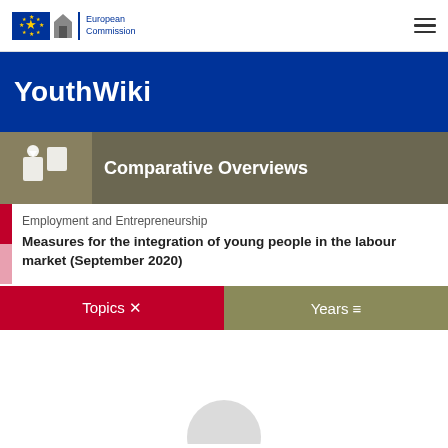European Commission
YouthWiki
Comparative Overviews
Employment and Entrepreneurship
Measures for the integration of young people in the labour market (September 2020)
Topics ✕
Years ≡